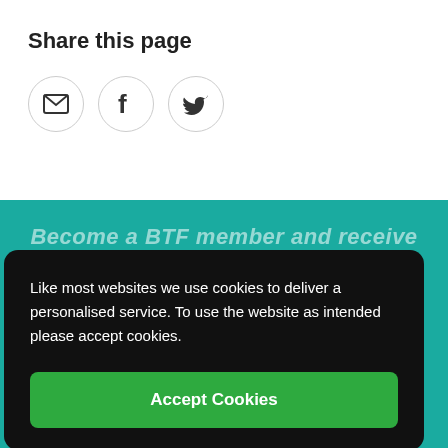Share this page
[Figure (infographic): Three circular social sharing icons: email/envelope, Facebook (f), Twitter (bird)]
Become a BTF member and receive
Like most websites we use cookies to deliver a personalised service. To use the website as intended please accept cookies.
Accept Cookies
Find us